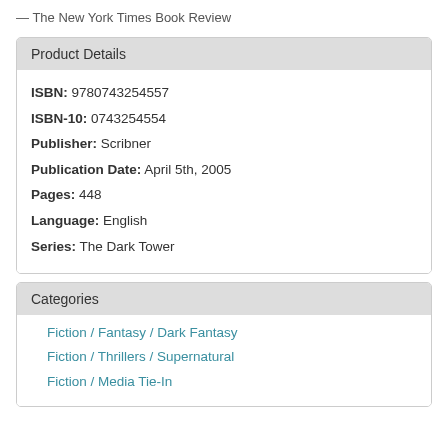— The New York Times Book Review
Product Details
ISBN: 9780743254557
ISBN-10: 0743254554
Publisher: Scribner
Publication Date: April 5th, 2005
Pages: 448
Language: English
Series: The Dark Tower
Categories
Fiction / Fantasy / Dark Fantasy
Fiction / Thrillers / Supernatural
Fiction / Media Tie-In